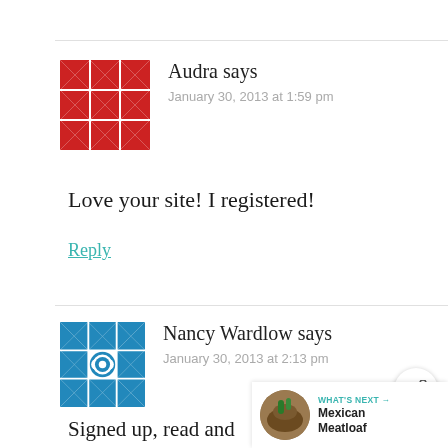[Figure (illustration): Red pixel-art quilt square avatar for user Audra]
Audra says
January 30, 2013 at 1:59 pm
Love your site! I registered!
Reply
[Figure (illustration): Blue pixel-art quilt square avatar for user Nancy Wardlow]
Nancy Wardlow says
January 30, 2013 at 2:13 pm
Signed up, read and liked!
Reply